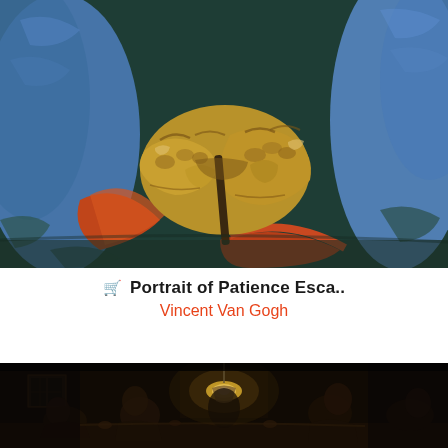[Figure (illustration): Close-up detail of Vincent Van Gogh painting 'Portrait of Patience Escalier' showing clasped hands with blue clothing and orange/red cuffs against a dark green background, painted in Van Gogh's characteristic brushstroke style]
🛒 Portrait of Patience Esca.. Vincent Van Gogh
[Figure (illustration): Dark interior scene by Vincent Van Gogh, likely 'The Potato Eaters', showing peasant figures gathered around a table with a hanging lamp in a dimly lit room, rendered in very dark tones of brown and black]